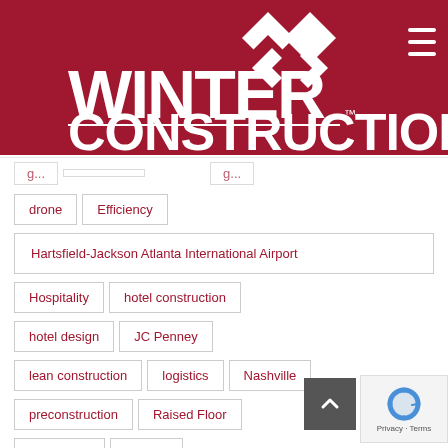[Figure (logo): Winter Construction logo on dark red/crimson background with stylized W diamond shapes and hamburger menu icon]
drone
Efficiency
Hartsfield-Jackson Atlanta International Airport
Hospitality
hotel construction
hotel design
JC Penney
lean construction
logistics
Nashville
preconstruction
Raised Floor
renovation
skylight